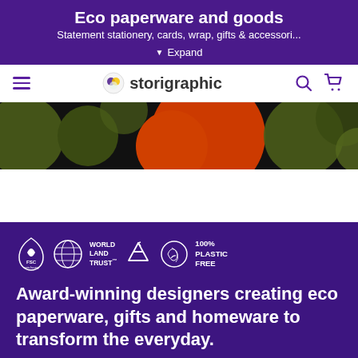Eco paperware and goods
Statement stationery, cards, wrap, gifts & accessori...
▼ Expand
[Figure (logo): Storigraphic logo with hamburger menu, search icon, and cart icon in purple navigation bar]
[Figure (photo): Decorative strip showing retro-style pattern with large orange and dark olive green circles on black background]
[Figure (infographic): Four eco certification badges: FSC logo, World Land Trust logo, Recycling symbol, and 100% Plastic Free globe logo, all in white on purple background]
Award-winning designers creating eco paperware, gifts and homeware to transform the everyday.